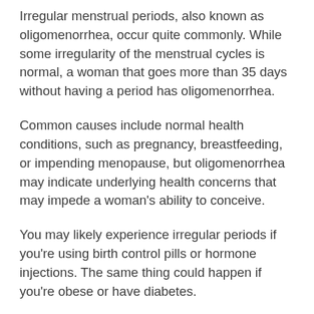Irregular menstrual periods, also known as oligomenorrhea, occur quite commonly. While some irregularity of the menstrual cycles is normal, a woman that goes more than 35 days without having a period has oligomenorrhea.
Common causes include normal health conditions, such as pregnancy, breastfeeding, or impending menopause, but oligomenorrhea may indicate underlying health concerns that may impede a woman's ability to conceive.
You may likely experience irregular periods if you're using birth control pills or hormone injections. The same thing could happen if you're obese or have diabetes.
Extreme stress or emotional duress, low body fat, extensive exercise and extreme weight loss or weight gain are among other possible causes.
Diagnosis involves pelvic examinations, pregnancy tests and blood tests. Once pregnancy has been ruled out, examinations are conducted to test your hormone levels.